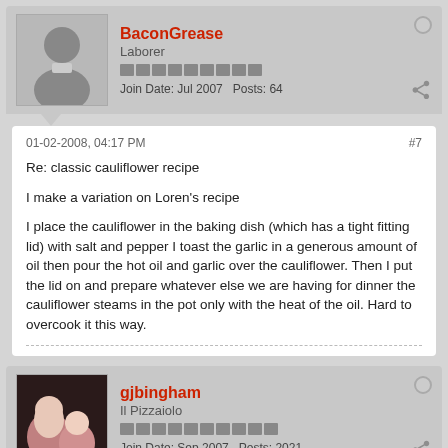BaconGrease | Laborer | Join Date: Jul 2007 | Posts: 64
01-02-2008, 04:17 PM #7
Re: classic cauliflower recipe

I make a variation on Loren's recipe

I place the cauliflower in the baking dish (which has a tight fitting lid) with salt and pepper I toast the garlic in a generous amount of oil then pour the hot oil and garlic over the cauliflower. Then I put the lid on and prepare whatever else we are having for dinner the cauliflower steams in the pot only with the heat of the oil. Hard to overcook it this way.
gjbingham | Il Pizzaiolo | Join Date: Sep 2007 | Posts: 2021
01-02-2008, 08:31 PM #8